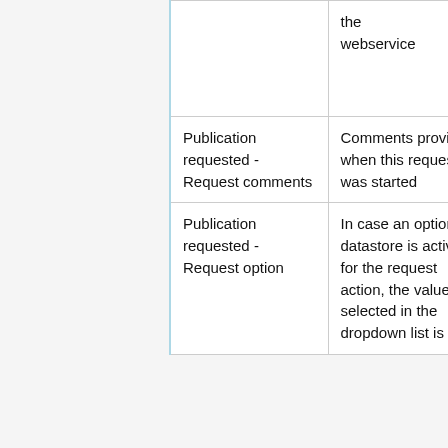|  |  | the webservice |  |
|  | Publication requested - Request comments | Comments provided when this request was started |  |
|  | Publication requested - Request option | In case an optional datastore is active for the request action, the value selected in the dropdown list is in | • Code
• Label |